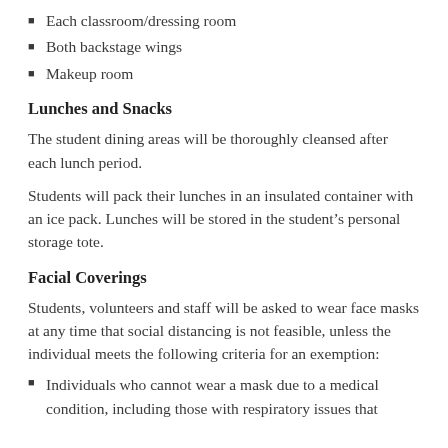Each classroom/dressing room
Both backstage wings
Makeup room
Lunches and Snacks
The student dining areas will be thoroughly cleansed after each lunch period.
Students will pack their lunches in an insulated container with an ice pack. Lunches will be stored in the student’s personal storage tote.
Facial Coverings
Students, volunteers and staff will be asked to wear face masks at any time that social distancing is not feasible, unless the individual meets the following criteria for an exemption:
Individuals who cannot wear a mask due to a medical condition, including those with respiratory issues that